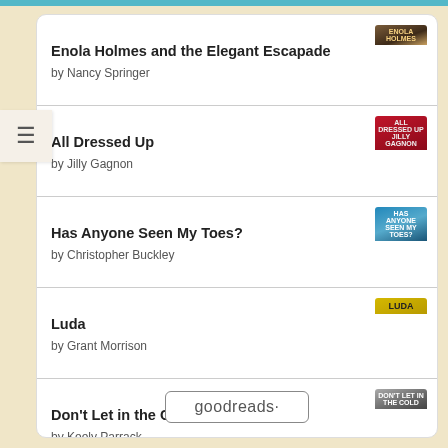Enola Holmes and the Elegant Escapade by Nancy Springer
All Dressed Up by Jilly Gagnon
Has Anyone Seen My Toes? by Christopher Buckley
Luda by Grant Morrison
Don't Let in the Cold by Keely Parrack
goodreads·